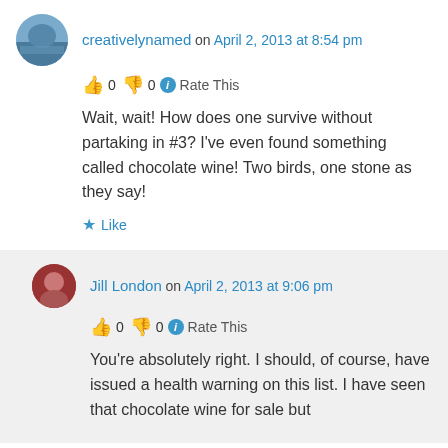creativelynamed on April 2, 2013 at 8:54 pm
👍 0 👎 0 ℹ Rate This
Wait, wait! How does one survive without partaking in #3? I've even found something called chocolate wine! Two birds, one stone as they say!
★ Like
Jill London on April 2, 2013 at 9:06 pm
👍 0 👎 0 ℹ Rate This
You're absolutely right. I should, of course, have issued a health warning on this list. I have seen that chocolate wine for sale but